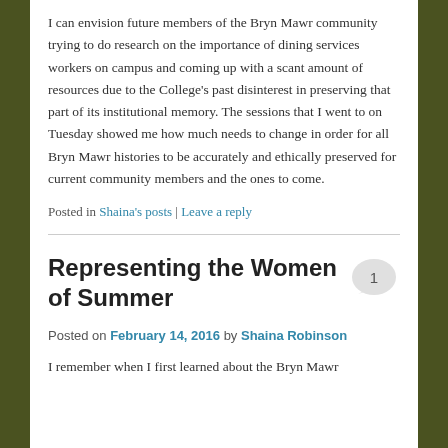I can envision future members of the Bryn Mawr community trying to do research on the importance of dining services workers on campus and coming up with a scant amount of resources due to the College's past disinterest in preserving that part of its institutional memory. The sessions that I went to on Tuesday showed me how much needs to change in order for all Bryn Mawr histories to be accurately and ethically preserved for current community members and the ones to come.
Posted in Shaina's posts | Leave a reply
Representing the Women of Summer
Posted on February 14, 2016 by Shaina Robinson
I remember when I first learned about the Bryn Mawr...